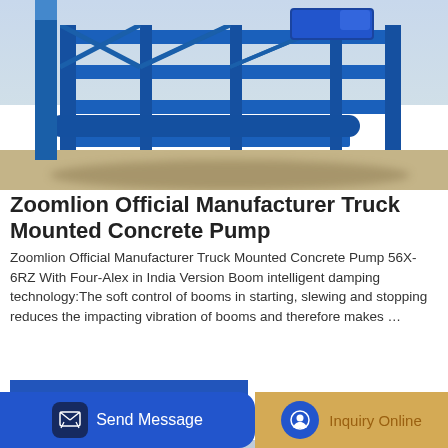[Figure (photo): Blue metal truck-mounted concrete pump equipment on a dirt/sand ground, seen from the side showing the structural steel frame in blue.]
Zoomlion Official Manufacturer Truck Mounted Concrete Pump
Zoomlion Official Manufacturer Truck Mounted Concrete Pump 56X-6RZ With Four-Alex in India Version Boom intelligent damping technology:The soft control of booms in starting, slewing and stopping reduces the impacting vibration of booms and therefore makes …
GET A QUOTE
[Figure (photo): Yellow truck-mounted concrete pump with red crane arm visible on the left, trees in background, industrial outdoor setting.]
Send Message
Inquiry Online